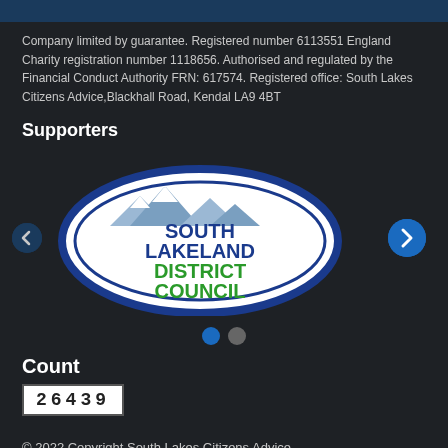Company limited by guarantee. Registered number 6113551 England Charity registration number 1118656. Authorised and regulated by the Financial Conduct Authority FRN: 617574. Registered office: South Lakes Citizens Advice,Blackhall Road, Kendal LA9 4BT
Supporters
[Figure (logo): South Lakeland District Council logo — oval shape with blue border, mountain scene at top, text reading SOUTH LAKELAND DISTRICT COUNCIL in blue and green]
Count
26439
© 2022 Copyright South Lakes Citizens Advice.
Website by ibex